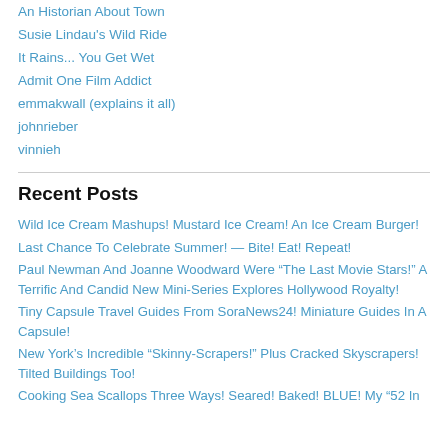An Historian About Town
Susie Lindau's Wild Ride
It Rains... You Get Wet
Admit One Film Addict
emmakwall (explains it all)
johnrieber
vinnieh
Recent Posts
Wild Ice Cream Mashups! Mustard Ice Cream! An Ice Cream Burger!
Last Chance To Celebrate Summer! — Bite! Eat! Repeat!
Paul Newman And Joanne Woodward Were “The Last Movie Stars!” A Terrific And Candid New Mini-Series Explores Hollywood Royalty!
Tiny Capsule Travel Guides From SoraNews24! Miniature Guides In A Capsule!
New York’s Incredible “Skinny-Scrapers!” Plus Cracked Skyscrapers! Tilted Buildings Too!
Cooking Sea Scallops Three Ways! Seared! Baked! BLUE! My “52 In